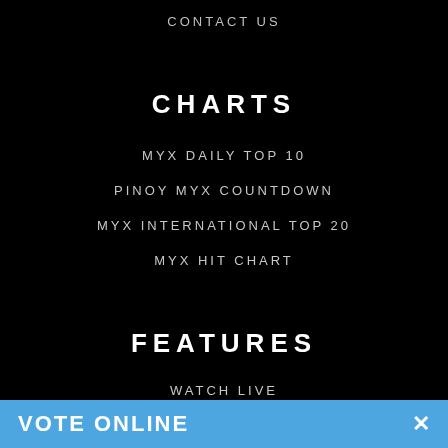CONTACT US
CHARTS
MYX DAILY TOP 10
PINOY MYX COUNTDOWN
MYX INTERNATIONAL TOP 20
MYX HIT CHART
FEATURES
WATCH LIVE
NEWS
SHOWS
EVENTS
VOTE ONLINE